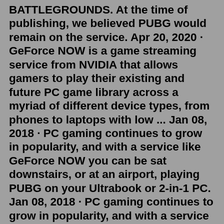BATTLEGROUNDS. At the time of publishing, we believed PUBG would remain on the service. Apr 20, 2020 · GeForce NOW is a game streaming service from NVIDIA that allows gamers to play their existing and future PC game library across a myriad of different device types, from phones to laptops with low ... Jan 08, 2018 · PC gaming continues to grow in popularity, and with a service like GeForce NOW you can be sat downstairs, or at an airport, playing PUBG on your Ultrabook or 2-in-1 PC. Jan 08, 2018 · PC gaming continues to grow in popularity, and with a service like GeForce NOW you can be sat downstairs, or at an airport, playing PUBG on your Ultrabook or 2-in-1 PC. Along with PUBG, GeForce NOW supports a number of other popular games, and Nvidia is adding support for more on a regular basis. Some of the supported titles include League of Legends, Fallout 4 ...PUBG: Battlegrounds is now available as a free game on PC, Xbox, and Playstation platforms. The game is currently accepting pre-registrations and one can also invite their friends to